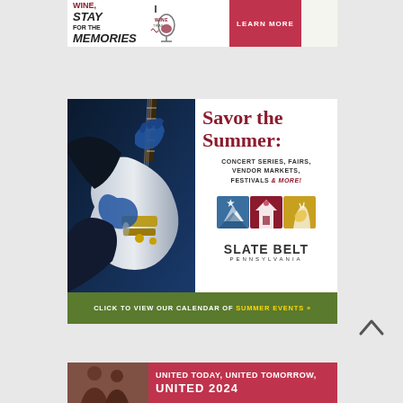[Figure (illustration): Top advertisement banner: Wine, Stay for the Memories wine trail ad with a LEARN MORE button on a red/crimson background]
[Figure (photo): Slate Belt Pennsylvania summer ad featuring a guitarist photo on left with text 'Savor the Summer: Concert Series, Fairs, Vendor Markets, Festivals & MORE!' and Slate Belt Pennsylvania logo, with green footer bar reading 'CLICK TO VIEW OUR CALENDAR OF SUMMER EVENTS »']
[Figure (photo): Bottom advertisement: United Today, United Tomorrow with people photo and red background]